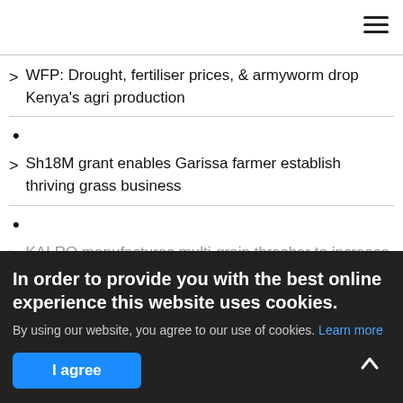> WFP: Drought, fertiliser prices, & armyworm drop Kenya's agri production
•
> Sh18M grant enables Garissa farmer establish thriving grass business
•
> KALRO manufactures multi-grain thresher to increase farmer profits
> Ruiru farmer taps [cookies banner obscures text] at milk in urban
In order to provide you with the best online experience this website uses cookies.
By using our website, you agree to our use of cookies. Learn more
I agree